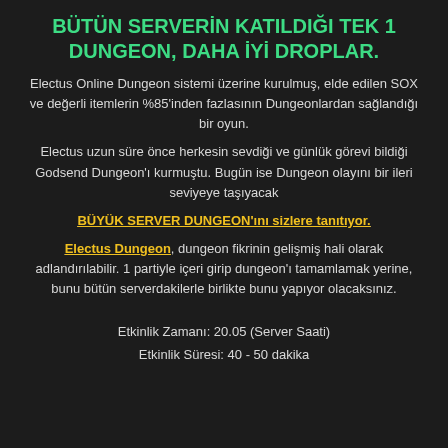BÜTÜN SERVERİN KATILDIĞI TEK 1 DUNGEON, DAHA İYİ DROPLAR.
Electus Online Dungeon sistemi üzerine kurulmuş, elde edilen SOX ve değerli itemlerin %85'inden fazlasının Dungeonlardan sağlandığı bir oyun.
Electus uzun süre önce herkesin sevdiği ve günlük görevi bildiği Godsend Dungeon'ı kurmuştu. Bugün ise Dungeon olayını bir ileri seviyeye taşıyacak
BÜYÜK SERVER DUNGEON'ını sizlere tanıtıyor.
Electus Dungeon, dungeon fikrinin gelişmiş hali olarak adlandırılabilir. 1 partiyle içeri girip dungeon'ı tamamlamak yerine, bunu bütün serverdakilerle birlikte bunu yapıyor olacaksınız.
Etkinlik Zamanı: 20.05 (Server Saati)
Etkinlik Süresi: 40 - 50 dakika